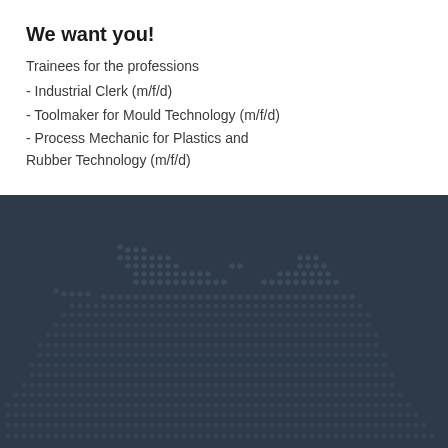We want you!
Trainees for the professions
- Industrial Clerk (m/f/d)
- Toolmaker for Mould Technology (m/f/d)
- Process Mechanic for Plastics and Rubber Technology (m/f/d)
Apply now online
[Figure (illustration): Dark background section with a decorative dot pattern forming a silhouette or abstract shape using small circles of varying opacity on a dark navy/charcoal background.]